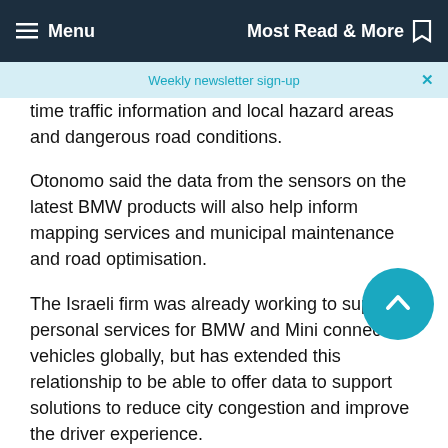Menu  Most Read & More
Weekly newsletter sign-up
time traffic information and local hazard areas and dangerous road conditions.
Otonomo said the data from the sensors on the latest BMW products will also help inform mapping services and municipal maintenance and road optimisation.
The Israeli firm was already working to support personal services for BMW and Mini connected vehicles globally, but has extended this relationship to be able to offer data to support solutions to reduce city congestion and improve the driver experience.
Ben Volkow, Otonomo founder and chief executive, “Otonomo has long focused on building an ecosystem